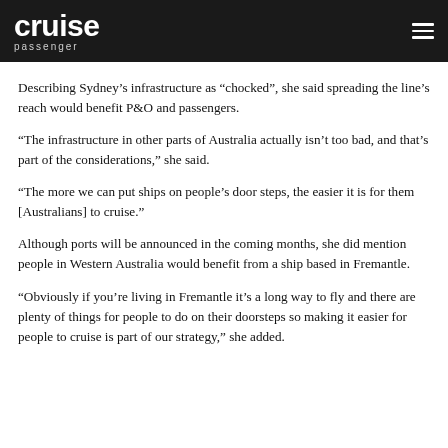cruise passenger
Describing Sydney's infrastructure as “chocked”, she said spreading the line’s reach would benefit P&O and passengers.
“The infrastructure in other parts of Australia actually isn’t too bad, and that’s part of the considerations,” she said.
“The more we can put ships on people’s door steps, the easier it is for them [Australians] to cruise.”
Although ports will be announced in the coming months, she did mention people in Western Australia would benefit from a ship based in Fremantle.
“Obviously if you’re living in Fremantle it’s a long way to fly and there are plenty of things for people to do on their doorsteps so making it easier for people to cruise is part of our strategy,” she added.